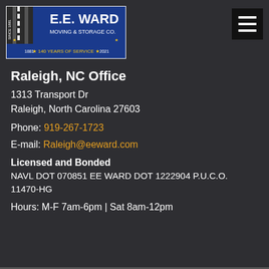[Figure (logo): E.E. Ward Moving & Storage Co. logo with '140 Years of Service', 1881–2021, on blue banner with road graphic]
Raleigh, NC Office
1313 Transport Dr
Raleigh, North Carolina 27603
Phone: 919-267-1723
E-mail: Raleigh@eeward.com
Licensed and Bonded
NAVL DOT 070851 EE WARD DOT 1222904 P.U.C.O. 11470-HG
Hours: M-F 7am-6pm | Sat 8am-12pm